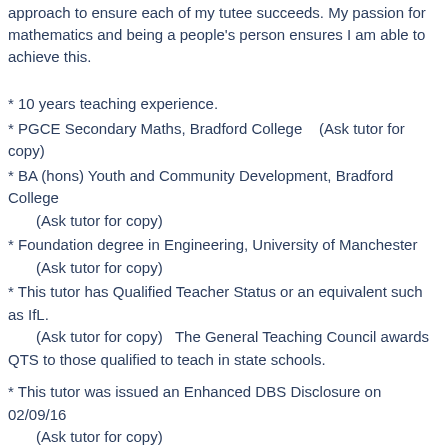approach to ensure each of my tutee succeeds. My passion for mathematics and being a people's person ensures I am able to achieve this.
* 10 years teaching experience.
* PGCE Secondary Maths, Bradford College   (Ask tutor for copy)
* BA (hons) Youth and Community Development, Bradford College
   (Ask tutor for copy)
* Foundation degree in Engineering, University of Manchester
   (Ask tutor for copy)
* This tutor has Qualified Teacher Status or an equivalent such as IfL.
   (Ask tutor for copy)   The General Teaching Council awards QTS to those qualified to teach in state schools.
* This tutor was issued an Enhanced DBS Disclosure on 02/09/16
   (Ask tutor for copy)
Enhanced DBS checks are designed for people in sole charge of children or vulnerable adults. DBS used to be known as CRB.
Hourly Lesson Fees: